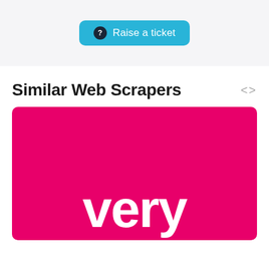[Figure (screenshot): Raise a ticket button — cyan/teal rounded button with a dark circular question mark icon and white text 'Raise a ticket']
Similar Web Scrapers
[Figure (logo): Very brand logo — white lowercase 'very' text on a vivid pink/magenta background square]